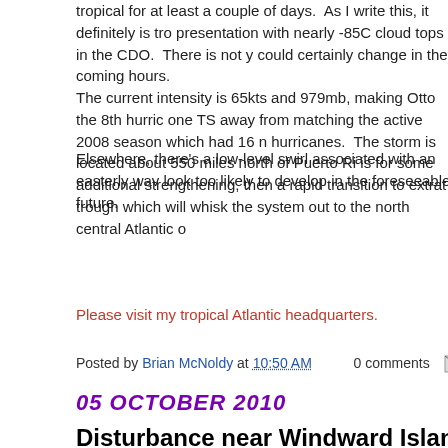tropical for at least a couple of days.  As I write this, it definitely is tropical with a great presentation with nearly -85C cloud tops in the CDO.  There is not yet a warm core, but that could certainly change in the coming hours.
The current intensity is 65kts and 979mb, making Otto the 8th hurricane of the season, and one TS away from matching the active 2008 season which had 16 named storms and 8 hurricanes.  The storm is located about 550 miles north of Puerto Rico. The current outlook is for some additional strengthening, then a rapid transition to extratropical thanks to a deep trough which will whisk the system out to the north central Atlantic over the next few days.
Elsewhere, there's a low-level swirl associated with an easterly wave in the deep tropics, but doesn't look too likely to develop in the foreseeable future.
Please visit my tropical Atlantic headquarters.
Posted by Brian McNoldy at 10:50 AM    0 comments
05 OCTOBER 2010
Disturbance near Windward Islands getting ...
Back on Sept 25, an easterly wave exited the African coast and has been tracking through the deep tropics.  For much of the last 1.5 weeks, it has been a feature to watch, but over the past couple of days however, the circulation and convection have...